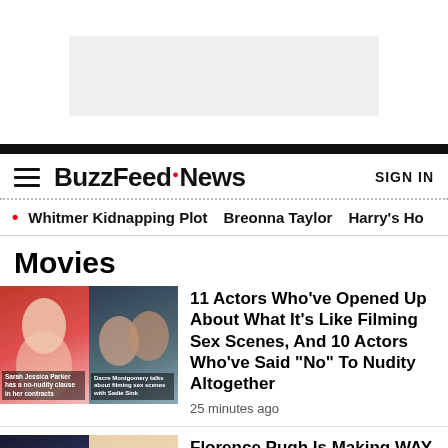[Figure (other): Advertisement banner placeholder (gray rectangle)]
BuzzFeed News | SIGN IN
Whitmer Kidnapping Plot  Breonna Taylor  Harry's Ho
Movies
[Figure (photo): Two thumbnail images: Sarah Jessica Parker on red background and a couple kissing with overlay text]
11 Actors Who've Opened Up About What It's Like Filming Sex Scenes, And 10 Actors Who've Said "No" To Nudity Altogether
25 minutes ago
[Figure (photo): Two thumbnail images: Harry Styles dark background and Florence Pugh light background with overlay text]
Florence Pugh Is Making WAY Less Than Harry Styles In "Don't Worry Darling" Despite Being More Qualified — Here Are 16 Other